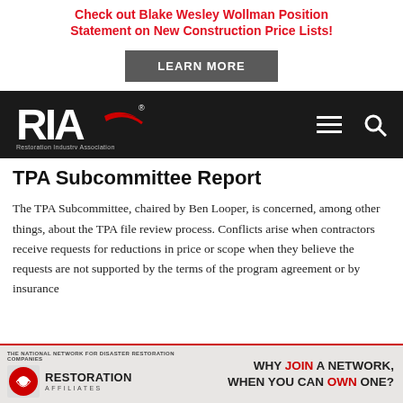Check out Blake Wesley Wollman Position Statement on New Construction Price Lists!
[Figure (other): LEARN MORE button - grey rectangle with white bold text]
[Figure (logo): RIA - Restoration Industry Association logo with red swoosh on dark navy/black navigation bar, hamburger menu and search icon]
TPA Subcommittee Report
The TPA Subcommittee, chaired by Ben Looper, is concerned, among other things, about the TPA file review process. Conflicts arise when contractors receive requests for reductions in price or scope when they believe the requests are not supported by the terms of the program agreement or by insurance
[Figure (other): Restoration Affiliates advertisement banner: THE NATIONAL NETWORK FOR DISASTER RESTORATION COMPANIES - logo with red and white icon, WHY JOIN A NETWORK, WHEN YOU CAN OWN ONE?]